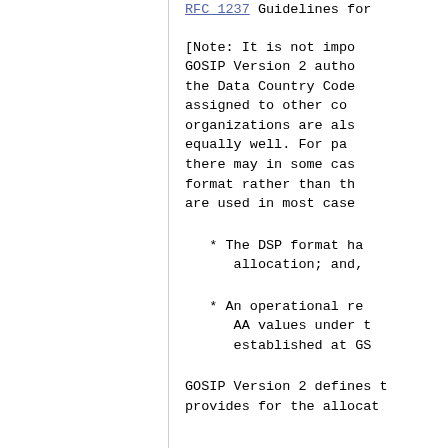RFC 1237  Guidelines for...
[Note: It is not impo... GOSIP Version 2 autho... the Data Country Code... assigned to other co... organizations are als... equally well. For pa... there may in some cas... format rather than th... are used in most case...
* The DSP format ha... allocation; and,
* An operational re... AA values under t... established at GS...
GOSIP Version 2 defines t... provides for the allocat...